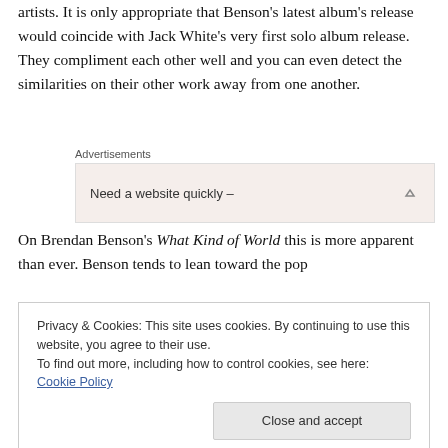artists. It is only appropriate that Benson's latest album's release would coincide with Jack White's very first solo album release. They compliment each other well and you can even detect the similarities on their other work away from one another.
Advertisements
Need a website quickly –
On Brendan Benson's What Kind of World this is more apparent than ever. Benson tends to lean toward the pop
Privacy & Cookies: This site uses cookies. By continuing to use this website, you agree to their use.
To find out more, including how to control cookies, see here: Cookie Policy
Close and accept